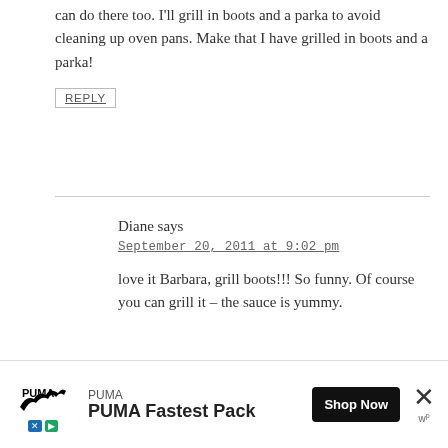can do there too. I'll grill in boots and a parka to avoid cleaning up oven pans. Make that I have grilled in boots and a parka!
REPLY
Diane says
September 20, 2011 at 9:02 pm
love it Barbara, grill boots!!! So funny. Of course you can grill it – the sauce is yummy.
[Figure (screenshot): PUMA advertisement banner with logo, 'PUMA Fastest Pack' text, Shop Now button, and close X button]